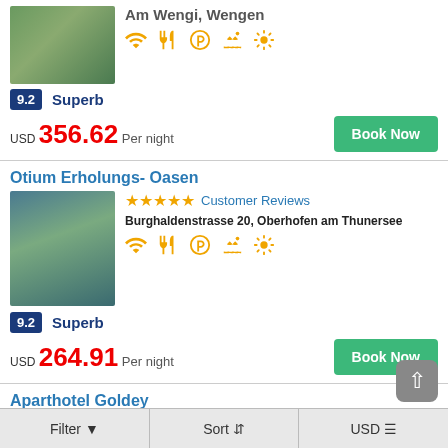[Figure (photo): Hotel exterior/pool photo - top partial card]
Am Wengi, Wengen
Amenity icons: WiFi, Restaurant, Parking, Pool, Sun/Spa
9.2 Superb
USD 356.62 Per night
Book Now
Otium Erholungs- Oasen
[Figure (photo): Otium Erholungs-Oasen hotel pool and exterior photo]
★★★★★ Customer Reviews
Burghaldenstrasse 20, Oberhofen am Thunersee
Amenity icons: WiFi, Restaurant, Parking, Pool, Sun/Spa
9.2 Superb
USD 264.91 Per night
Book Now
Aparthotel Goldey
Filter | Sort | USD